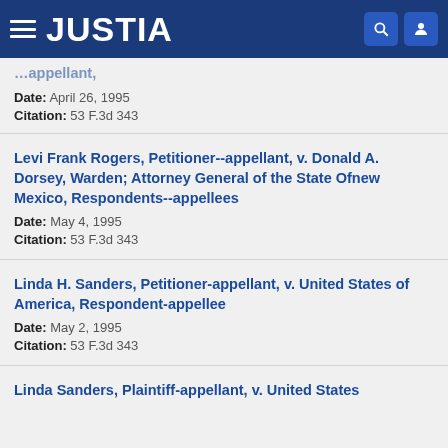JUSTIA
Date: April 26, 1995
Citation: 53 F.3d 343
Levi Frank Rogers, Petitioner--appellant, v. Donald A. Dorsey, Warden; Attorney General of the State Ofnew Mexico, Respondents--appellees
Date: May 4, 1995
Citation: 53 F.3d 343
Linda H. Sanders, Petitioner-appellant, v. United States of America, Respondent-appellee
Date: May 2, 1995
Citation: 53 F.3d 343
Linda Sanders, Plaintiff-appellant, v. ...